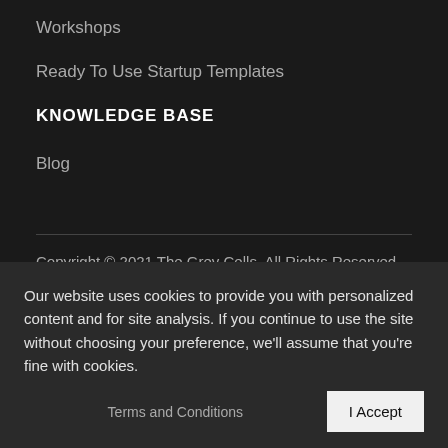Workshops
Ready To Use Startup Templates
KNOWLEDGE BASE
Blog
Copyright © 2021 The Grey Cells. All Rights Reserved.
Our website uses cookies to provide you with personalized content and for site analysis. If you continue to use the site without choosing your preference, we'll assume that you're fine with cookies.
I Accept
Terms and Conditions